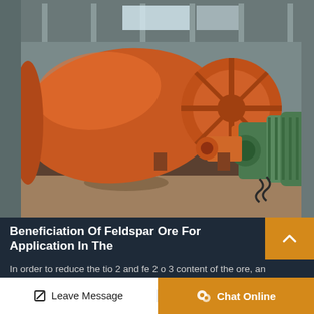[Figure (photo): Industrial ball mill machinery with large orange cylindrical drum and green electric motor, set inside a warehouse/factory building]
Beneficiation Of Feldspar Ore For Application In The
In order to reduce the tio 2 and fe 2 o 3 content of the ore, an anionic collector, namely e 526 su
Leave Message
Chat Online